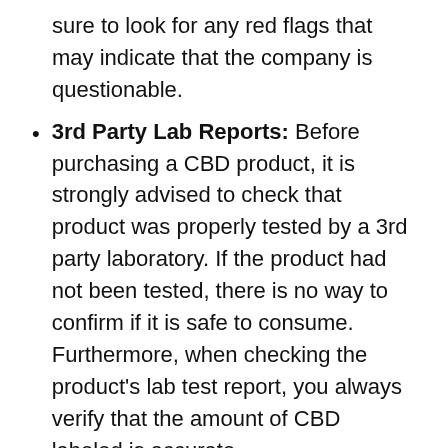sure to look for any red flags that may indicate that the company is questionable.
3rd Party Lab Reports: Before purchasing a CBD product, it is strongly advised to check that product was properly tested by a 3rd party laboratory. If the product had not been tested, there is no way to confirm if it is safe to consume. Furthermore, when checking the product's lab test report, you always verify that the amount of CBD labeled is accurate.
Type of CBD: Is it CBD isolate, Broad Spectrum CBD, or full spectrum CBD? Each type of CBD offers a set of unique advantages and disadvantages, and the type of CBD in the product should match with your needs as well as your budget.